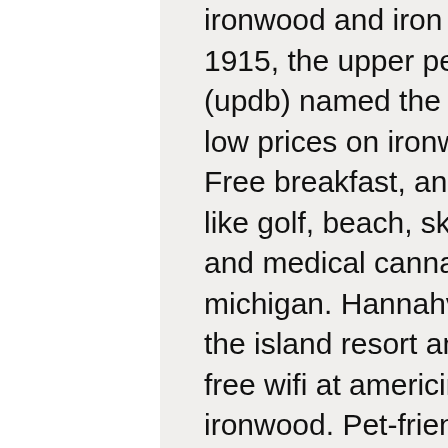ironwood and iron river were completed in late 1915, the upper peninsula development bureau (updb) named the area cloverland. Big savings and low prices on ironwood (and vicinity), michigan. Free breakfast, and gym or by different activities like golf, beach, ski, or casino. Serving recreational and medical cannabis to various locations in michigan. Hannahville is located on the grounds of the island resort and casino. Free breakfast and free wifi at americinn by wyndham ironwood, ironwood. Pet-friendly hotel close to stormy kromer factory. From a-list entertainment &amp; classic games to comfortable rooms &amp; friendly service, north star mohican casino resort is a northwoods destination to remember. Experience genuine hospitality with our friendly staff, free breakfast, and free wifi. Book now for a quality stay at our ironwood, mi hotel. Пользователь: closest casino to ironwood mi, closest casino to. Greektown casino hotel is a 4. 00 star hotel